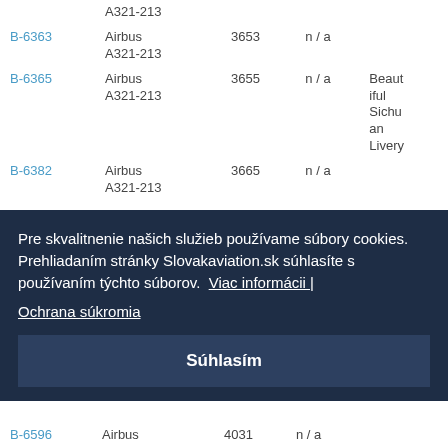| Registration | Type | MSN | Age | Livery |
| --- | --- | --- | --- | --- |
|  | A321-213 |  |  |  |
| B-6363 | Airbus A321-213 | 3653 | n/a |  |
| B-6365 | Airbus A321-213 | 3655 | n/a | Beautiful Sichuan Livery |
| B-6382 | Airbus A321-213 | 3665 | n/a |  |
Pre skvalitnenie našich služieb používame súbory cookies. Prehliadaním stránky Slovakaviation.sk súhlasíte s používaním týchto súborov. Viac informácii | Ochrana súkromia
Súhlasím
| B-6596 | Airbus | 4031 | n/a |  |